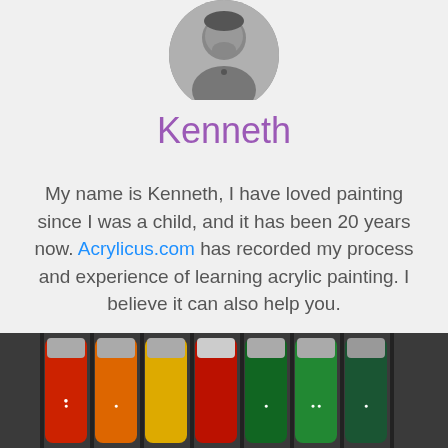[Figure (photo): Circular profile photo of Kenneth, a man in a grey sweater, black and white photo]
Kenneth
My name is Kenneth, I have loved painting since I was a child, and it has been 20 years now. Acrylicus.com has recorded my process and experience of learning acrylic painting. I believe it can also help you.
Let's Bring Ideas to Life!
[Figure (photo): Close-up photo of colorful acrylic paint tubes arranged in a tray, showing red, orange, yellow, green tubes]